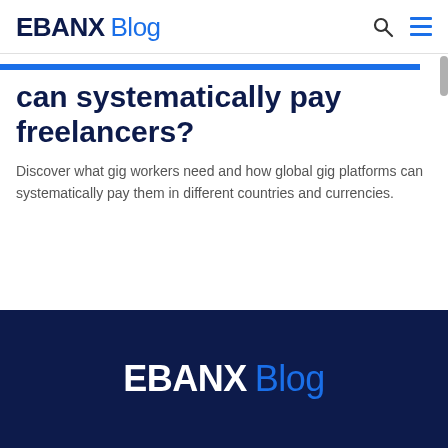EBANX Blog
can systematically pay freelancers?
Discover what gig workers need and how global gig platforms can systematically pay them in different countries and currencies.
EBANX Blog